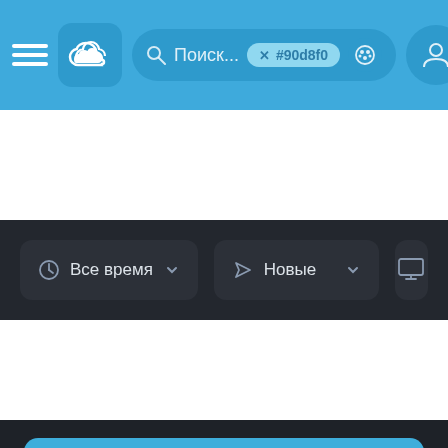[Figure (screenshot): Blue navigation bar with hamburger menu, cloud icon button, search bar with text 'Поиск...' and color tag '#90d8f0', palette icon, and user profile icon]
[Figure (screenshot): Dark filter toolbar with 'Все время' (All time) dropdown and 'Новые' (New) dropdown and monitor icon button]
[Figure (illustration): JAWS movie poster with light blue background, shark fin in center, red swoosh line, quote 'We're Gonna Need a Bigger Boat', director 'Steven Spielberg' and large JAWS title text]